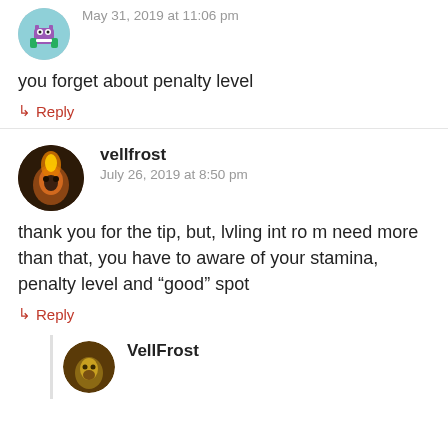[Figure (illustration): Circular avatar showing a cartoon monster character (purple/green pixel art)]
May 31, 2019 at 11:06 pm
you forget about penalty level
Reply
[Figure (illustration): Circular avatar showing a fire/dark fantasy warrior character]
vellfrost
July 26, 2019 at 8:50 pm
thank you for the tip, but, lvling int ro m need more than that, you have to aware of your stamina, penalty level and “good” spot
Reply
[Figure (illustration): Circular avatar showing a gold/bronze warrior character (VellFrost)]
VellFrost